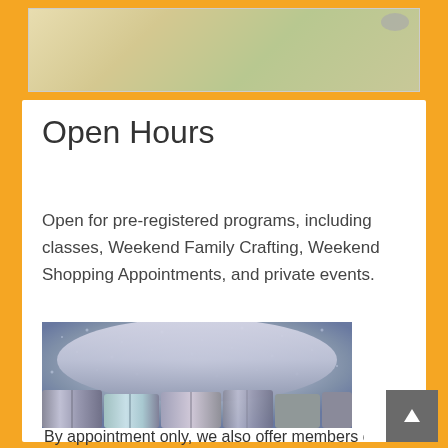[Figure (photo): Partial view of a craft store or studio image at the top of the page, partially cropped]
Open Hours
Open for pre-registered programs, including classes, Weekend Family Crafting, Weekend Shopping Appointments, and private events.
[Figure (photo): Holographic and sparkly ribbon and fabric rolls stacked together, silver and iridescent colors]
By appointment only, we also offer members only...